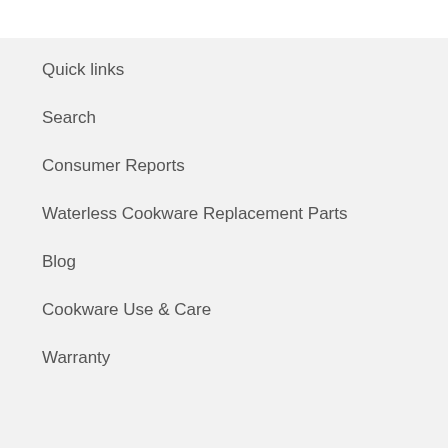Quick links
Search
Consumer Reports
Waterless Cookware Replacement Parts
Blog
Cookware Use & Care
Warranty